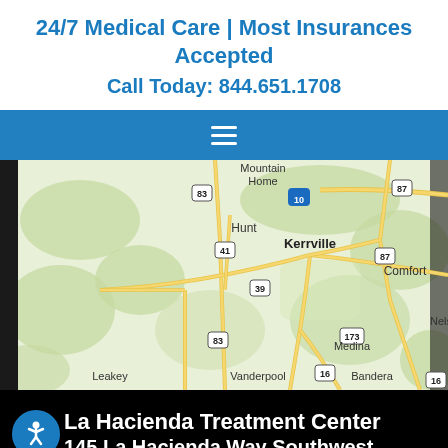24/7 Medical Care | Most Insurances Accepted
Call Today: 844.651.1708
[Figure (map): Google Maps view of the Kerrville, Texas area showing towns including Mountain Home, Hunt, Kerrville, Comfort, Nelson, Leakey, Vanderpool, Medina, Bandera and roads including highways 83, 41, 39, 87, 10, 16, 173.]
La Hacienda Treatment Center
145 La Hacienda Way Southwest